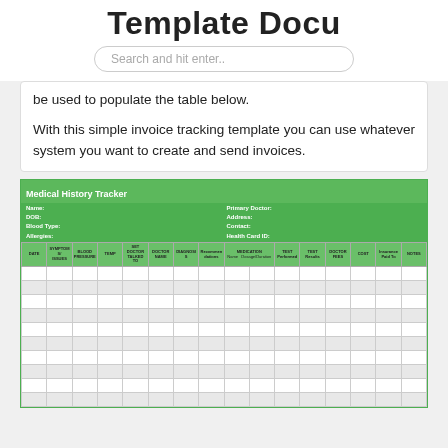Template Docu
Search and hit enter..
be used to populate the table below.

With this simple invoice tracking template you can use whatever system you want to create and send invoices.
| Medical History Tracker |
| --- |
| Name: | Primary Doctor: |
| DOB: | Address: |
| Blood Type: | Contact: |
| Allergies: | Health Card ID: |
| DATE | SYMPTOMS/ISSUES | BLOOD PRESSURE | TEMP | SET DOCTOR TALKED TO | DOCTOR NAME | DIAGNOSIS | Recommendations | MEDICATION Name | MEDICATION Dosage/Duration | TEST Performed | TEST Results | DOCTOR FEES | COST | Insurance Paid To | NOTES |
| --- | --- | --- | --- | --- | --- | --- | --- | --- | --- | --- | --- | --- | --- | --- | --- |